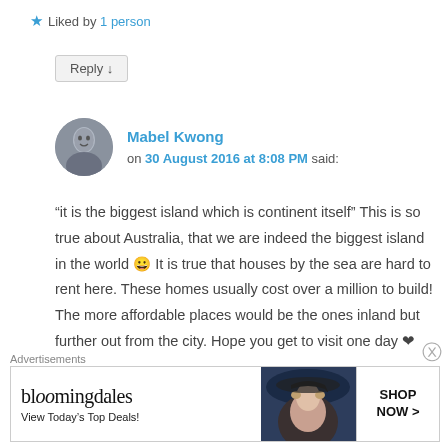★ Liked by 1 person
Reply ↓
Mabel Kwong on 30 August 2016 at 8:08 PM said:
“it is the biggest island which is continent itself” This is so true about Australia, that we are indeed the biggest island in the world 😀 It is true that houses by the sea are hard to rent here. These homes usually cost over a million to build! The more affordable places would be the ones inland but further out from the city. Hope you get to visit one day ❤
Advertisements
[Figure (screenshot): Bloomingdale's advertisement banner: bloomingdales logo, 'View Today's Top Deals!', woman with hat, SHOP NOW > button]